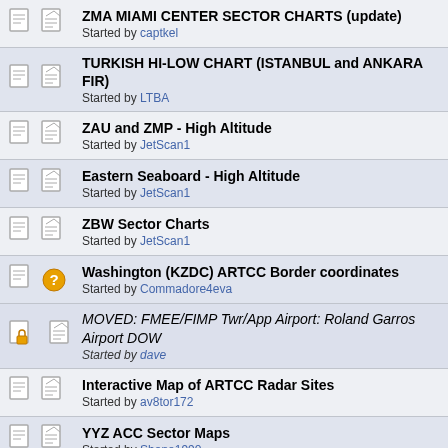ZMA MIAMI CENTER SECTOR CHARTS (update)
Started by captkel
TURKISH HI-LOW CHART (ISTANBUL and ANKARA FIR)
Started by LTBA
ZAU and ZMP - High Altitude
Started by JetScan1
Eastern Seaboard - High Altitude
Started by JetScan1
ZBW Sector Charts
Started by JetScan1
Washington (KZDC) ARTCC Border coordinates
Started by Commadore4eva
MOVED: FMEE/FIMP Twr/App Airport: Roland Garros Airport DOW
Started by dave
Interactive Map of ARTCC Radar Sites
Started by av8tor172
YYZ ACC Sector Maps
Started by Shane1990